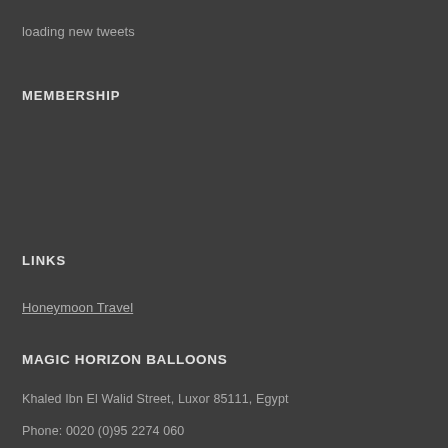loading new tweets
MEMBERSHIP
LINKS
Honeymoon Travel
MAGIC HORIZON BALLOONS
Khaled Ibn El Walid Street, Luxor 85111, Egypt
Phone: 0020 (0)95 2274 060